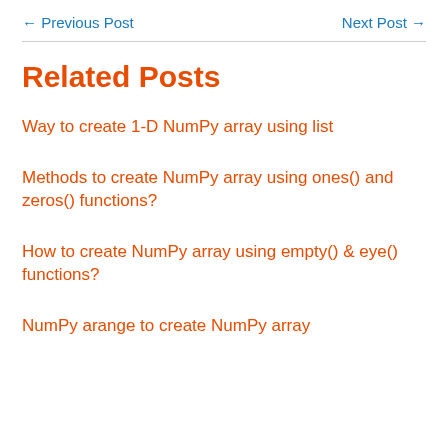← Previous Post    Next Post →
Related Posts
Way to create 1-D NumPy array using list
Methods to create NumPy array using ones() and zeros() functions?
How to create NumPy array using empty() & eye() functions?
NumPy arange to create NumPy array